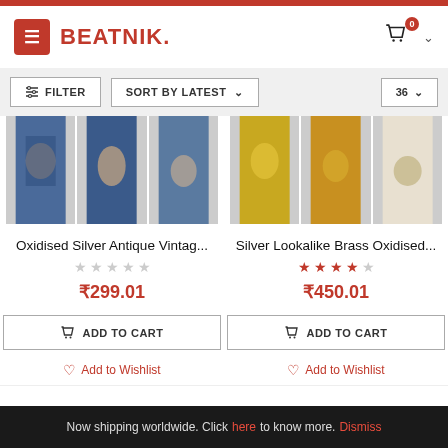BEATNIK.
FILTER   SORT BY LATEST ∨   36 ∨
[Figure (photo): Two product cards showing jewelry items. Left: Oxidised Silver Antique Vintage item showing 3 photos of model wearing necklace in blue outfit. Right: Silver Lookalike Brass Oxidised item showing 3 photos of model wearing jewelry in yellow outfit.]
Oxidised Silver Antique Vintag...
★★★★★ (empty stars)
₹299.01
ADD TO CART
Add to Wishlist
Silver Lookalike Brass Oxidised...
★★★★☆ (4 filled stars)
₹450.01
ADD TO CART
Add to Wishlist
Now shipping worldwide. Click here to know more. Dismiss